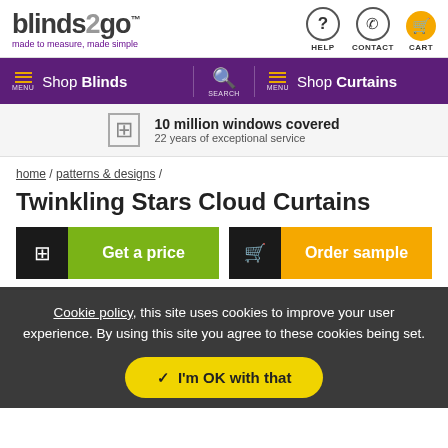[Figure (logo): blinds2go logo with tagline 'made to measure, made simple', plus help, contact, cart icons]
[Figure (screenshot): Purple navigation bar with 'Shop Blinds', search, 'Shop Curtains' sections]
10 million windows covered
22 years of exceptional service
home / patterns & designs /
Twinkling Stars Cloud Curtains
[Figure (screenshot): Get a price button (calculator icon + green background) and Order sample button (cart icon + orange background)]
Cookie policy, this site uses cookies to improve your user experience. By using this site you agree to these cookies being set.
✓ I'm OK with that